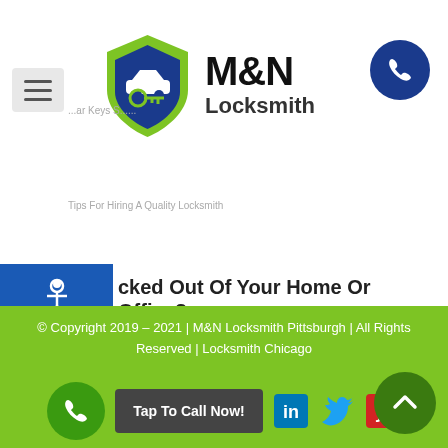RECENT POSTS
[Figure (logo): M&N Locksmith logo with green and navy shield containing a car and key icon, with M&N Locksmith text]
cked Out Of Your Home Or Office?
[Figure (map): Google Maps screenshot showing Pittsburgh, PA area with surrounding cities including Steubenville, Monroeville, Greensburg, Indiana. Shows route 76, 30, 22, 422, 119. View larger map button visible. Map data ©2022 Google. Keyboard shortcuts. Terms of Use.]
© Copyright 2019 – 2021 | M&N Locksmith Pittsburgh | All Rights Reserved | Locksmith Chicago